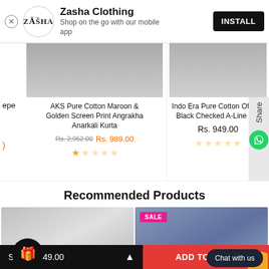[Figure (screenshot): App install banner for Zasha Clothing with logo, description text, and INSTALL button]
Zasha Clothing
Shop on the go with our mobile app
INSTALL
[Figure (photo): Partial product image - clothing item top portion visible]
AKS Pure Cotton Maroon & Golden Screen Print Angrakha Anarkali Kurta
Rs. 2,952.00  Rs. 989.00
[Figure (photo): Partial product image - clothing item top portion visible]
Indo Era Pure Cotton Off-White Black Checked A-Line Kur
Rs. 949.00
Recommended Products
[Figure (photo): Woman in white kurta on grey background]
[Figure (photo): Woman in navy blue kurta - SALE badge visible]
S – Rs. 849.00
ADD TO CART